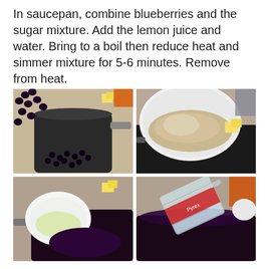In saucepan, combine blueberries and the sugar mixture.  Add the lemon juice and water.  Bring to a boil then reduce heat and simmer mixture for 5-6 minutes.  Remove from heat.
[Figure (photo): Four photos showing cooking steps: top-left shows blueberries being poured into a dark saucepan with butter cubes nearby; top-right shows a white bowl with flour/dry mixture and butter cubes in background; bottom-left shows a small white bowl with lemon juice over dark blueberry mixture in saucepan; bottom-center and right shows a glass measuring cup pouring water into the dark blueberry saucepan.]